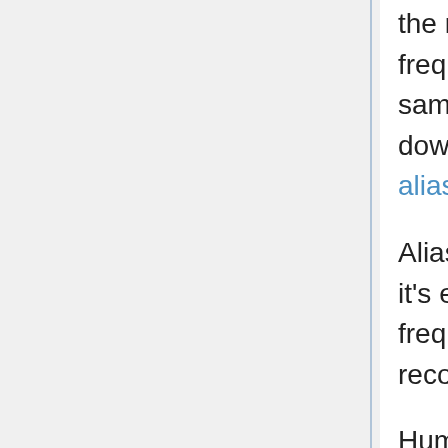the new part, if we don't remove those frequencies with a low-pass filter before sampling, the sampling process will fold them down into the representable frequency range as aliasing distortion.
Aliasing, in a nutshell, sounds freakin' awful, so it's essential to remove any beyond-Nyquist frequencies before sampling and after reconstruction.
Human frequency perception is considered to extend to about 20kHz. In 44.1 or 48kHz sampling, the low pass before the sampling stage has to be extremely sharp to avoid cutting any audible frequencies below 20kHz but still not allow frequencies above the Nyquist to leak forward into the sampling process. This is a difficult filter to build, and no practical filter succeeds completely. If the sampling rate is 96kHz